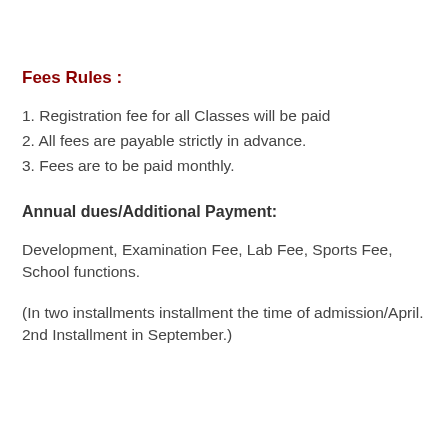Fees Rules :
1. Registration fee for all Classes will be paid
2. All fees are payable strictly in advance.
3. Fees are to be paid monthly.
Annual dues/Additional Payment:
Development,  Examination Fee,  Lab Fee,  Sports Fee,  School functions.
(In two installments installment the time of admission/April. 2nd Installment in September.)